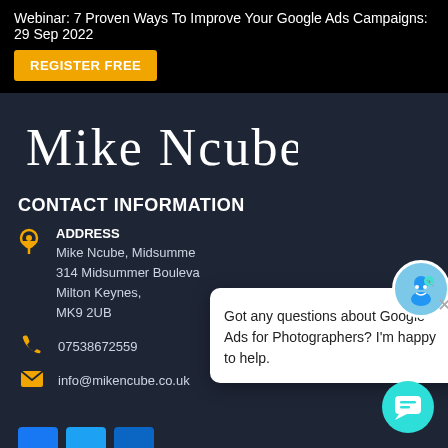Webinar: 7 Proven Ways To Improve Your Google Ads Campaigns: 29 Sep 2022  REGISTER FREE
[Figure (logo): Mike Ncube cursive script logo/name in white on dark background]
CONTACT INFORMATION
ADDRESS
Mike Ncube, Midsumme...
314 Midsummer Bouleva...
Milton Keynes,
MK9 2UB
07538672559
info@mikencube.co.uk
[Figure (infographic): Chat popup with avatar: 'Got any questions about Google Ads for Photographers? I'm happy to help.']
[Figure (other): Teal circular chat button at bottom right]
[Figure (other): Social media icon buttons (blue) at bottom left, partially visible]